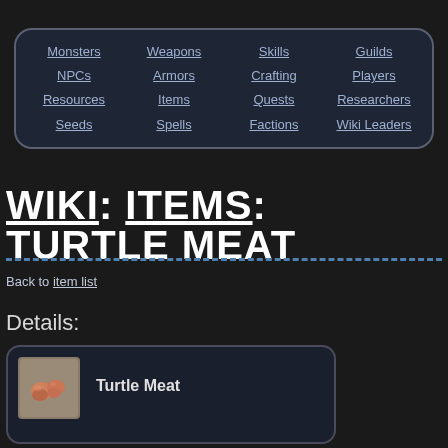Monsters | NPCs | Resources | Seeds | Weapons | Armors | Items | Spells | Skills | Crafting | Quests | Factions | Guilds | Players | Researchers | Wiki Leaders
WIKI: ITEMS: TURTLE MEAT
Back to item list
Details:
| Icon | Name |
| --- | --- |
| [turtle meat icon] | Turtle Meat |